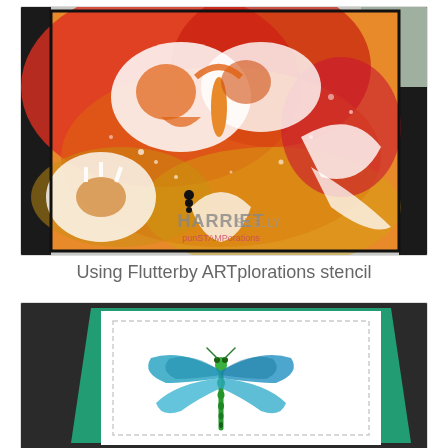[Figure (photo): A greeting card with butterfly/floral stencil art using Flutterby ARTplorations stencil, showing white silhouettes of butterflies and flowers on a vibrant red, orange, and yellow watercolor background. The card is displayed in a black frame. A watermark reads 'HARRIET SKELLY punSTAMPorations'.]
Using Flutterby ARTplorations stencil
[Figure (photo): A greeting card featuring a detailed dragonfly illustration in green and blue/teal colors, displayed on a white card with stitched border. Behind it is a teal glitter card panel. The card is propped against a dark background.]